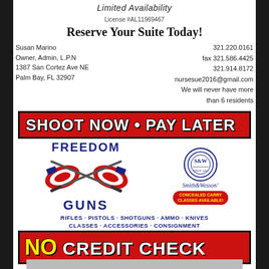Limited Availability
License #AL11969467
Reserve Your Suite Today!
Susan Marino
Owner, Admin, L.P.N
1387 San Cortez Ave NE
Palm Bay, FL 32907
321.220.0161
fax 321.586.4425
321.914.8172
nursesue2016@gmail.com
We will never have more than 6 residents
[Figure (infographic): Red banner with white bold text: SHOOT NOW • PAY LATER]
[Figure (infographic): Freedom Guns advertisement with crossed rifles over American flags, Smith & Wesson logo, and Concealed Carry Classes Available badge]
RIFLES · PISTOLS · SHOTGUNS · AMMO · KNIVES · CLASSES · ACCESSORIES · CONSIGNMENT
[Figure (infographic): Red banner with yellow NO and white bold text CREDIT CHECK]